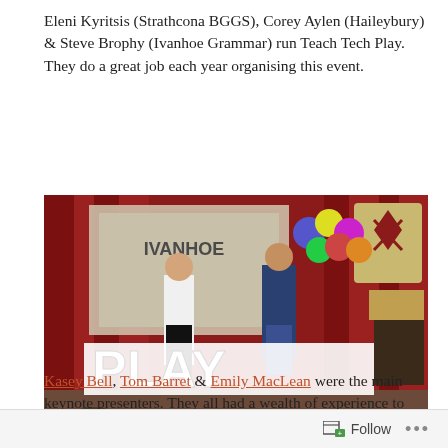Eleni Kyritsis (Strathcona BGGS), Corey Aylen (Haileybury) & Steve Brophy (Ivanhoe Grammar) run Teach Tech Play. They do a great job each year organising this event.
[Figure (photo): Photo of two presenters on a stage with a large 'PLAY' sign in front, red curtain backdrop, balloons, school crest banner, and an audience visible in the foreground.]
Kasey Bell, Tom Barret & Emily MacLean were the main keynote presenters. They all had a wealth of experience to share.